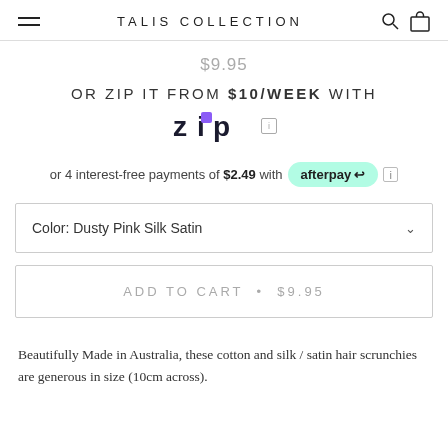TALIS COLLECTION
$9.95
OR ZIP IT FROM $10/WEEK WITH [Zip logo]
or 4 interest-free payments of $2.49 with afterpay
Color: Dusty Pink Silk Satin
ADD TO CART • $9.95
Beautifully Made in Australia, these cotton and silk / satin hair scrunchies are generous in size (10cm across).